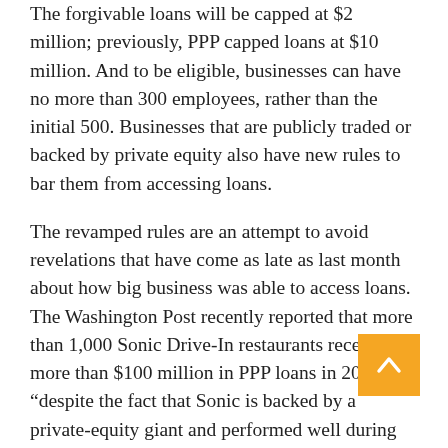The forgivable loans will be capped at $2 million; previously, PPP capped loans at $10 million. And to be eligible, businesses can have no more than 300 employees, rather than the initial 500. Businesses that are publicly traded or backed by private equity also have new rules to bar them from accessing loans.
The revamped rules are an attempt to avoid revelations that have come as late as last month about how big business was able to access loans. The Washington Post recently reported that more than 1,000 Sonic Drive-In restaurants received more than $100 million in PPP loans in 2020 “despite the fact that Sonic is backed by a private-equity giant and performed well during the pandemic.”
There is also more for recently launched...